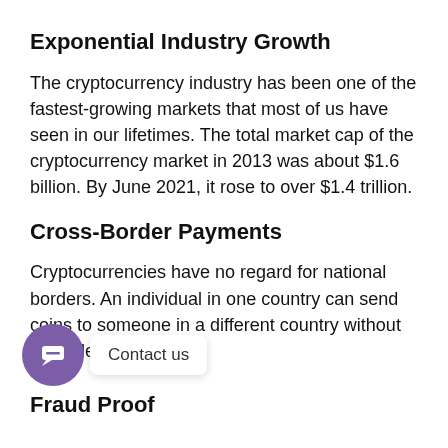Exponential Industry Growth
The cryptocurrency industry has been one of the fastest-growing markets that most of us have seen in our lifetimes. The total market cap of the cryptocurrency market in 2013 was about $1.6 billion. By June 2021, it rose to over $1.4 trillion.
Cross-Border Payments
Cryptocurrencies have no regard for national borders. An individual in one country can send coins to someone in a different country without an added difficulty.
Fraud Proof